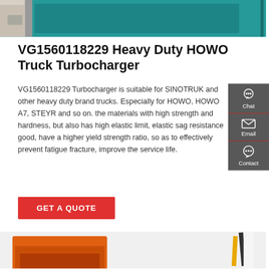[Figure (photo): Top portion of a teal/turquoise colored truck cab interior showing open door and cabin interior]
VG1560118229 Heavy Duty HOWO Truck Turbocharger
VG1560118229 Turbocharger is suitable for SINOTRUK and other heavy duty brand trucks. Especially for HOWO, HOWO A7, STEYR and so on. the materials with high strength and hardness, but also has high elastic limit, elastic sag resistance good, have a higher yield strength ratio, so as to effectively prevent fatigue fracture, improve the service life.
[Figure (infographic): Sidebar with Chat, Email, and Contact icons on dark grey background]
[Figure (photo): Bottom partial photo showing orange and yellow/black equipment or truck parts]
GET A QUOTE